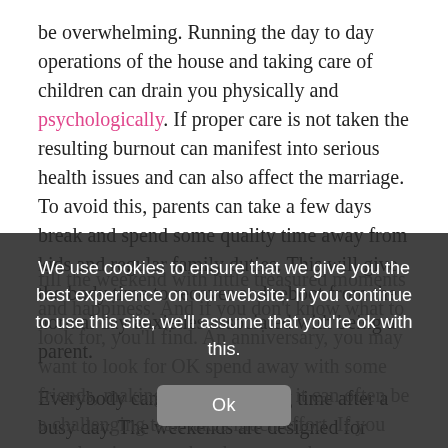be overwhelming. Running the day to day operations of the house and taking care of children can drain you physically and psychologically. If proper care is not taken the resulting burnout can manifest into serious health issues and can also affect the marriage. To avoid this, parents can take a few days break and spend some quality time away from kids and regular family duties. This will give the body time to recover and reboot from the normal day anxieties associated with being a parent.
Everybody can enjoy a relaxing time after a busy day. The weekends are designed for comfort and pleasure, and even more so when spent on a weekend getaway. You can fill the weekend with little treasured moments and happiness...
We use cookies to ensure that we give you the best experience on our website. If you continue to use this site, we'll assume that you're ok with this.